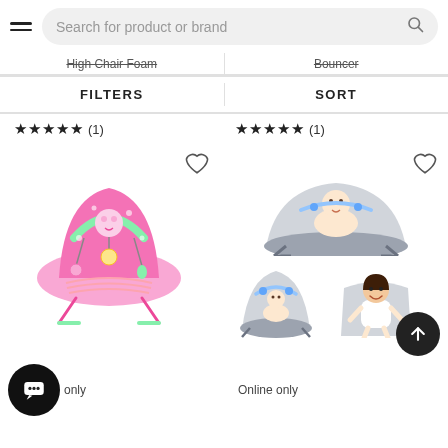Search for product or brand
High Chair Foam | Bouncer
FILTERS | SORT
★★★★★ (1)  ★★★★★ (1)
[Figure (photo): Pink baby bouncer with green toy arch and hanging toys]
only
[Figure (photo): Grey baby bouncer/rocker shown in three angles with babies]
Online only